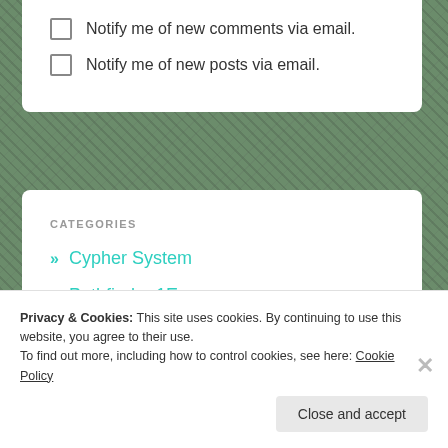Notify me of new comments via email.
Notify me of new posts via email.
CATEGORIES
» Cypher System
» Pathfinder 1E
» RPG
Privacy & Cookies: This site uses cookies. By continuing to use this website, you agree to their use.
To find out more, including how to control cookies, see here: Cookie Policy
Close and accept